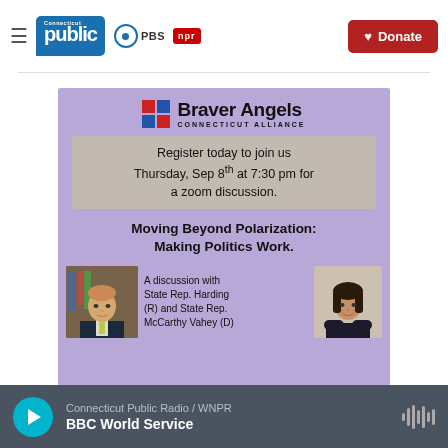Connecticut Public PBS NPR | Donate
[Figure (infographic): Braver Angels Connecticut Alliance event flyer on purple background. Text: Register today to join us Thursday, Sep 8th at 7:30 pm for a zoom discussion. Moving Beyond Polarization: Making Politics Work. A discussion with State Rep. Harding (R) and State Rep. McCarthy Vahey (D). Photos of two state representatives.]
Connecticut Public Radio / WNPR | BBC World Service